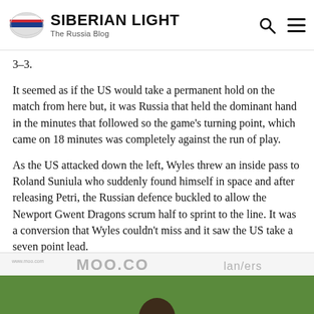SIBERIAN LIGHT – The Russia Blog
3–3.
It seemed as if the US would take a permanent hold on the match from here but, it was Russia that held the dominant hand in the minutes that followed so the game's turning point, which came on 18 minutes was completely against the run of play.
As the US attacked down the left, Wyles threw an inside pass to Roland Suniula who suddenly found himself in space and after releasing Petri, the Russian defence buckled to allow the Newport Gwent Dragons scrum half to sprint to the line. It was a conversion that Wyles couldn't miss and it saw the US take a seven point lead.
[Figure (photo): Advertisement banner and partial photo of a rugby player on a green field]